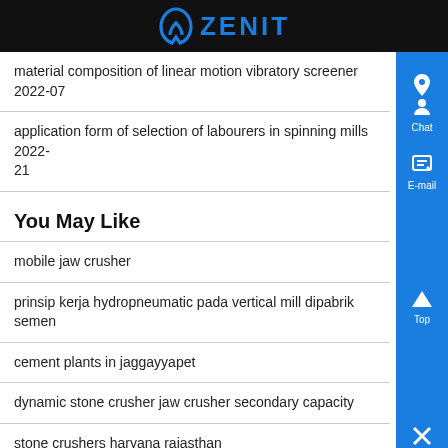ZENIT
material composition of linear motion vibratory screener  2022-07
application form of selection of labourers in spinning mills  2022-
21
You May Like
mobile jaw crusher
prinsip kerja hydropneumatic pada vertical mill dipabrik semen
cement plants in jaggayyapet
dynamic stone crusher jaw crusher secondary capacity
stone crushers haryana rajasthan